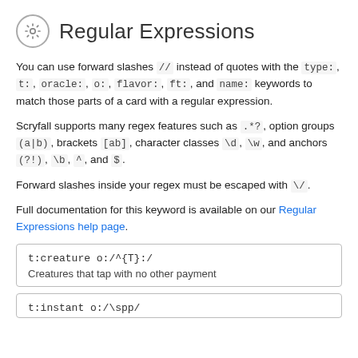Regular Expressions
You can use forward slashes // instead of quotes with the type:, t:, oracle:, o:, flavor:, ft:, and name: keywords to match those parts of a card with a regular expression.
Scryfall supports many regex features such as .*?, option groups (a|b), brackets [ab], character classes \d, \w, and anchors (?!), \b, ^, and $.
Forward slashes inside your regex must be escaped with \/.
Full documentation for this keyword is available on our Regular Expressions help page.
t:creature o:/^{T}:/
Creatures that tap with no other payment
t:instant o:/\spp/